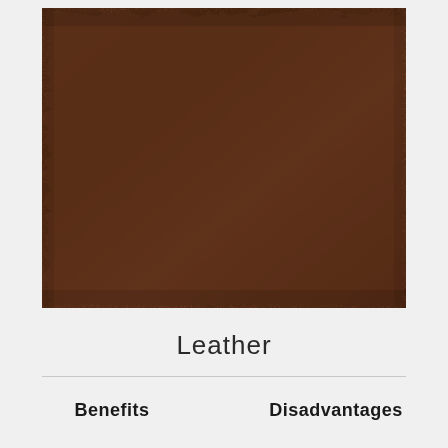[Figure (photo): Close-up texture photo of brown leather material showing natural grain and surface details]
Leather
Benefits
Disadvantages